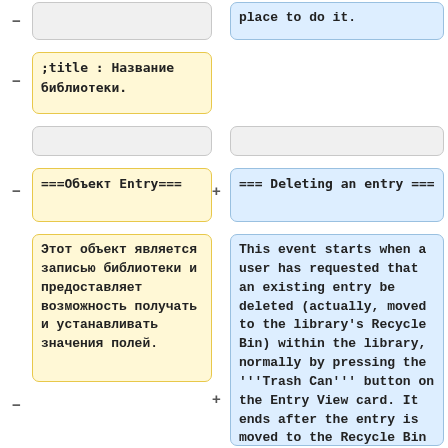[empty gray box top-left]
place to do it.
;title : Название библиотеки.
[empty gray box right mid]
[empty gray box left mid]
===Объект Entry===
=== Deleting an entry ===
Этот объект является записью библиотеки и предоставляет возможность получать и устанавливать значения полей.
This event starts when a user has requested that an existing entry be deleted (actually, moved to the library's Recycle Bin) within the library, normally by pressing the '''Trash Can''' button on the Entry View card. It ends after the entry is moved to the Recycle Bin